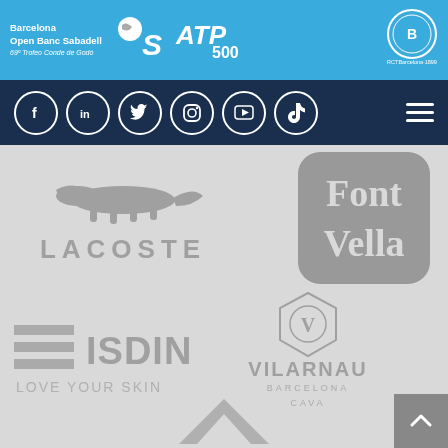Barcelona Open Banc Sabadell 69º Trofeo Conde de Godó — ATP 500 — RCT Barcelona 1899
[Figure (logo): Navigation bar with social media icons (Facebook, LinkedIn, Twitter, Instagram, YouTube, TikTok) and hamburger menu on dark navy background]
[Figure (logo): Lacoste logo in gray — crocodile icon above LACOSTE text]
[Figure (logo): Font Vella logo in gray rounded rectangle]
[Figure (logo): ISDIN — LOVE YOUR SKIN logo in gray]
[Figure (logo): Vilarnau Barcelona Cava logo in gray with hexagonal emblem]
[Figure (logo): Partial logo visible at bottom center of page]